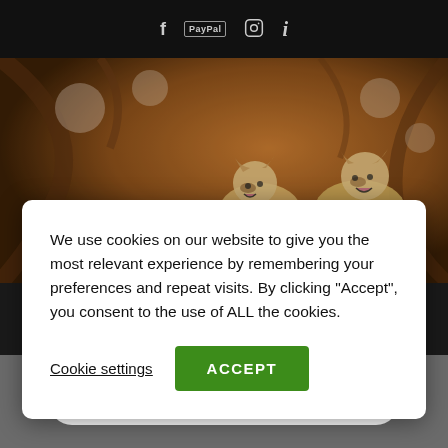[Figure (screenshot): Top navigation bar with social media icons: Facebook (f), PayPal logo box, Instagram circle icon, and info (i) icon on dark background]
[Figure (photo): Two happy Shiba Inu dogs jumping among autumn/spring blossoming trees with warm brown and orange tones]
We use cookies on our website to give you the most relevant experience by remembering your preferences and repeat visits. By clicking “Accept”, you consent to the use of ALL the cookies.
Cookie settings
ACCEPT
© Contattami per avere informazioni.